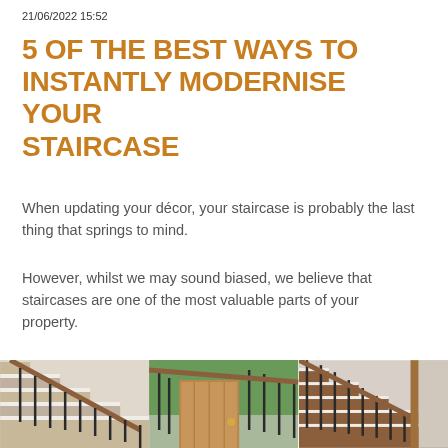21/06/2022 15:52
5 OF THE BEST WAYS TO INSTANTLY MODERNISE YOUR STAIRCASE
When updating your décor, your staircase is probably the last thing that springs to mind.
However, whilst we may sound biased, we believe that staircases are one of the most valuable parts of your property.
[Figure (photo): Three photographs of modern staircases with black metal balusters and wooden handrails]